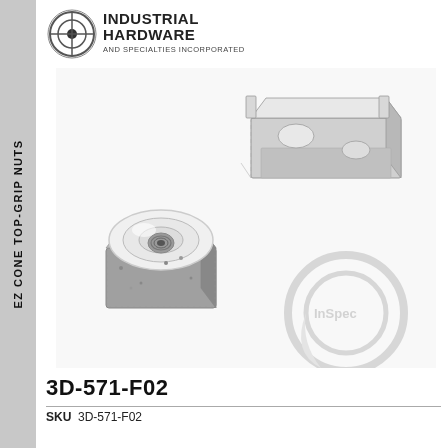[Figure (logo): Industrial Hardware and Specialties Incorporated logo with crosshair circle graphic]
[Figure (illustration): 3D illustration of EZ Cone Top-Grip Nut (square nut with cone washer) alongside a strut channel section]
EZ Cone Top-Grip Nuts
3D-571-F02
SKU  3D-571-F02